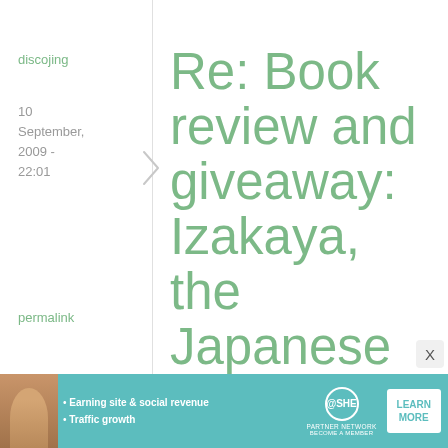discojing
10 September, 2009 - 22:01
permalink
Re: Book review and giveaway: Izakaya, the Japanese Pub ...
Awww, this makes me miss the izakaya by the train tracks in the
[Figure (infographic): Advertisement banner for SHE Partner Network with text: Earning site & social revenue, Traffic growth, LEARN MORE button]